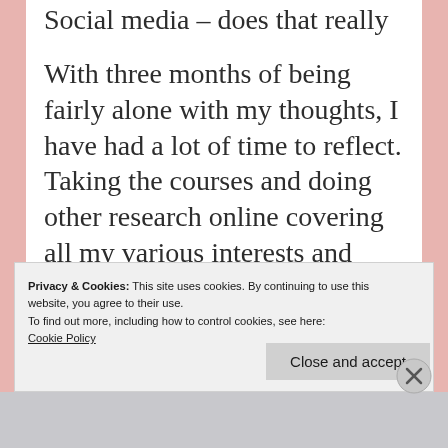Social media – does that really count?
With three months of being fairly alone with my thoughts, I have had a lot of time to reflect. Taking the courses and doing other research online covering all my various interests and desire to find a source of income, has given me plenty to reflect upon.
Privacy & Cookies: This site uses cookies. By continuing to use this website, you agree to their use.
To find out more, including how to control cookies, see here:
Cookie Policy
Close and accept